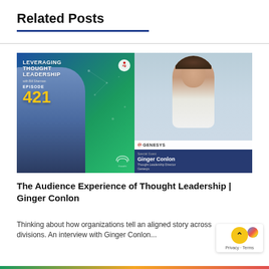Related Posts
[Figure (photo): Podcast cover art for 'Leveraging Thought Leadership with Bill Sherman, Episode 421' featuring two people: a man on the left side against a gradient blue-green background with network graphics, and a woman (Ginger Conlon, Thought Leadership Director at Genesys) on the right side. The episode number 421 is displayed in large yellow text. The Genesys logo and guest information box appear in the lower right.]
The Audience Experience of Thought Leadership | Ginger Conlon
Thinking about how organizations tell an aligned story across divisions. An interview with Ginger Conlon...